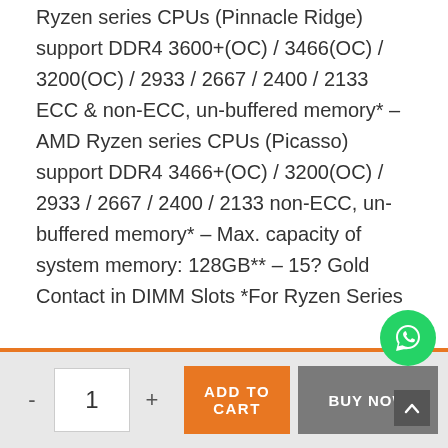Ryzen series CPUs (Pinnacle Ridge) support DDR4 3600+(OC) / 3466(OC) / 3200(OC) / 2933 / 2667 / 2400 / 2133 ECC & non-ECC, un-buffered memory* – AMD Ryzen series CPUs (Picasso) support DDR4 3466+(OC) / 3200(OC) / 2933 / 2667 / 2400 / 2133 non-ECC, un-buffered memory* – Max. capacity of system memory: 128GB** – 15? Gold Contact in DIMM Slots *For Ryzen Series